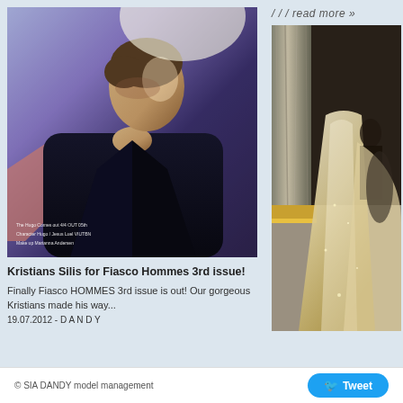/ / / read more »
[Figure (photo): Fashion editorial photo of a male model with short hair, wearing a dark outfit, photographed in a blue/purple lit setting. Caption text at bottom includes 'The Hugo Comes out 4/4 OUT 05th', 'Character Hugo / Jesus Luel VIUTBN', 'Make up Marianna Andersen']
[Figure (photo): Fashion photo showing a model in an elaborate light/gold gown standing near a marble column, appears to be a runway or editorial shot]
Kristians Silis for Fiasco Hommes 3rd issue!
Finally Fiasco HOMMES 3rd issue is out! Our gorgeous Kristians made his way...
19.07.2012 - D A N D Y
© SIA DANDY model management
Tweet